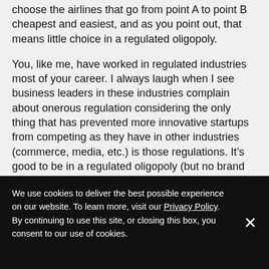choose the airlines that go from point A to point B cheapest and easiest, and as you point out, that means little choice in a regulated oligopoly.
You, like me, have worked in regulated industries most of your career. I always laugh when I see business leaders in these industries complain about onerous regulation considering the only thing that has prevented more innovative startups from competing as they have in other industries (commerce, media, etc.) is those regulations. It’s good to be in a regulated oligopoly (but no brand should get too comfortable with it.)
April 12, 2017 at 1:01 pm
Reply
We use cookies to deliver the best possible experience on our website. To learn more, visit our Privacy Policy. By continuing to use this site, or closing this box, you consent to our use of cookies.